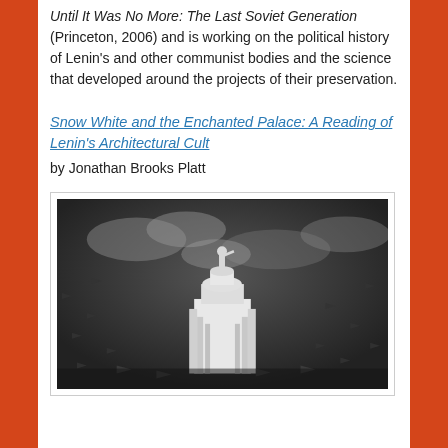Until It Was No More: The Last Soviet Generation (Princeton, 2006) and is working on the political history of Lenin's and other communist bodies and the science that developed around the projects of their preservation.
Snow White and the Enchanted Palace: A Reading of Lenin's Architectural Cult
by Jonathan Brooks Platt
[Figure (photo): Black and white film still showing a tall monumental tower topped with a statue of a figure with arm outstretched, surrounded by airplanes flying in formation against a cloudy sky.]